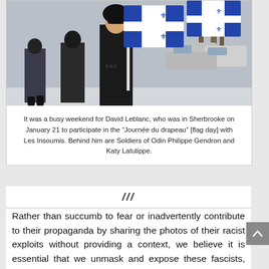[Figure (photo): People marching with blue and white Quebec flags (fleur-de-lis). A man in a black hoodie and sunglasses holds a flag pole. Other marchers visible in the background. Parked cars and bare trees in the winter background.]
It was a busy weekend for David Leblanc, who was in Sherbrooke on January 21 to participate in the “Journée du drapeau” [flag day] with Les Insoumis. Behind him are Soldiers of Odin Philippe Gendron and Katy Latulippe.
///
Rather than succumb to fear or inadvertently contribute to their propaganda by sharing the photos of their racist exploits without providing a context, we believe it is essential that we unmask and expose these fascists, who are taking up an increasing amount of space in our cities.